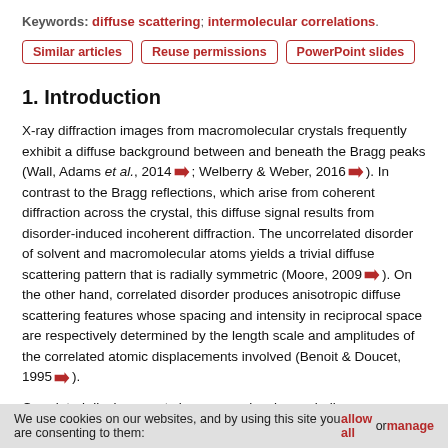Keywords: diffuse scattering; intermolecular correlations.
Similar articles | Reuse permissions | PowerPoint slides
1. Introduction
X-ray diffraction images from macromolecular crystals frequently exhibit a diffuse background between and beneath the Bragg peaks (Wall, Adams et al., 2014; Welberry & Weber, 2016). In contrast to the Bragg reflections, which arise from coherent diffraction across the crystal, this diffuse signal results from disorder-induced incoherent diffraction. The uncorrelated disorder of solvent and macromolecular atoms yields a trivial diffuse scattering pattern that is radially symmetric (Moore, 2009). On the other hand, correlated disorder produces anisotropic diffuse scattering features whose spacing and intensity in reciprocal space are respectively determined by the length scale and amplitudes of the correlated atomic displacements involved (Benoit & Doucet, 1995).
Correlated displacements in macromolecules underlie many biological functions, such as allostery, signaling and enzyme catalysis. However,
We use cookies on our websites, and by using this site you are consenting to them: allow all or manage